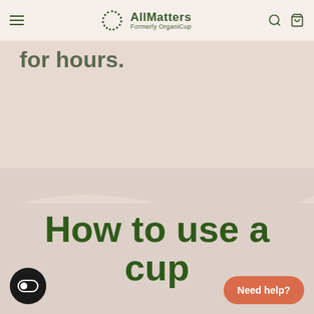AllMatters — Formerly OrganiCup
for hours.
How to use a cup